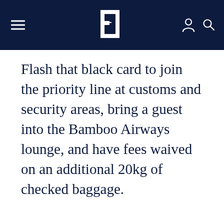[Navigation header with logo and icons]
Flash that black card to join the priority line at customs and security areas, bring a guest into the Bamboo Airways lounge, and have fees waived on an additional 20kg of checked baggage.